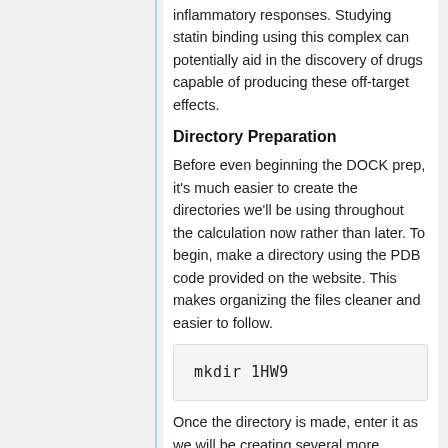inflammatory responses. Studying statin binding using this complex can potentially aid in the discovery of drugs capable of producing these off-target effects.
Directory Preparation
Before even beginning the DOCK prep, it's much easier to create the directories we'll be using throughout the calculation now rather than later. To begin, make a directory using the PDB code provided on the website. This makes organizing the files cleaner and easier to follow.
mkdir 1HW9
Once the directory is made, enter it as we will be creating several more directories within this directory.